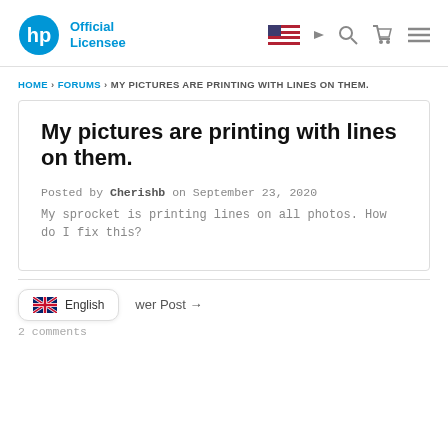HP Official Licensee
HOME › FORUMS › MY PICTURES ARE PRINTING WITH LINES ON THEM.
My pictures are printing with lines on them.
Posted by Cherishb on September 23, 2020
My sprocket is printing lines on all photos. How do I fix this?
← Newer Post →
English
2 comments